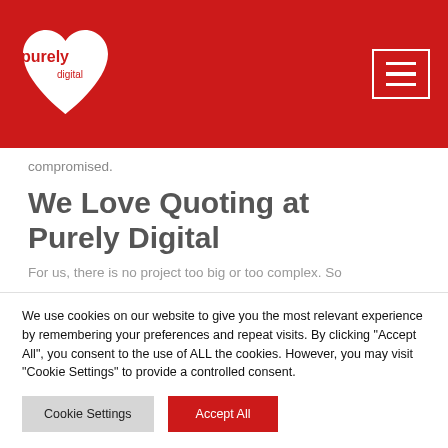[Figure (logo): Purely Digital logo in white on red heart background with navigation hamburger menu icon]
compromised.
We Love Quoting at Purely Digital
For us, there is no project too big or too complex. So
We use cookies on our website to give you the most relevant experience by remembering your preferences and repeat visits. By clicking "Accept All", you consent to the use of ALL the cookies. However, you may visit "Cookie Settings" to provide a controlled consent.
Cookie Settings | Accept All